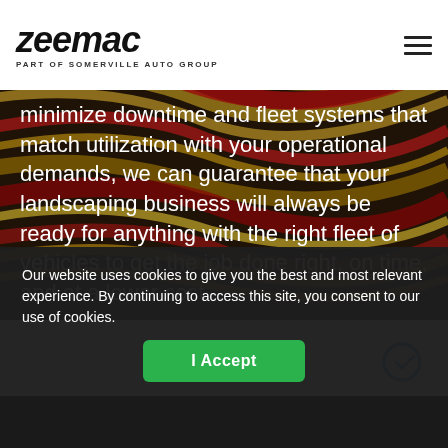[Figure (logo): Zeemac logo with text 'PART OF SOMERVILLE AUTO GROUP' below in uppercase]
minimize downtime and fleet systems that match utilization with your operational demands, we can guarantee that your landscaping business will always be ready for anything with the right fleet of vehicles to get the job done right, on time, and at a lower cost.
Our website uses cookies to give you the best and most relevant experience. By continuing to access this site, you consent to our use of cookies.
I Accept